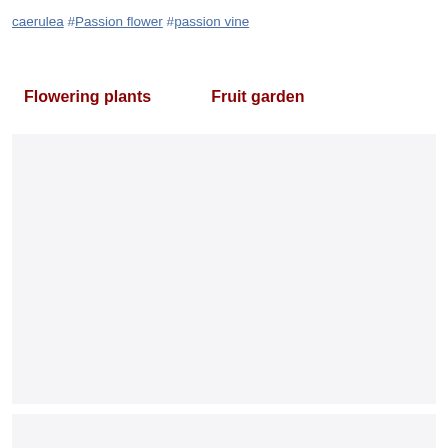caerulea #Passion flower #passion vine
Flowering plants    Fruit garden
[Figure (photo): Large light gray rectangular placeholder image area]
[Figure (photo): Partially visible light gray rectangular placeholder image area at bottom]